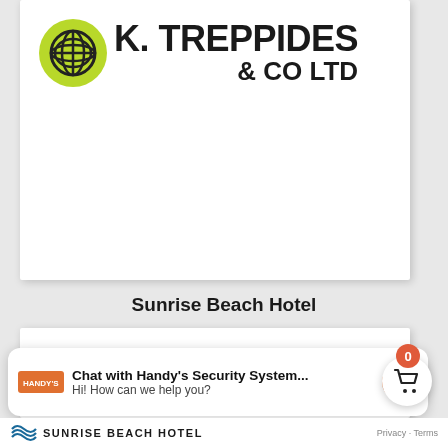[Figure (logo): K. Treppides & Co Ltd company logo with green globe icon on white card background]
Sunrise Beach Hotel
[Figure (screenshot): White card area with shopping cart icon showing badge count of 0]
[Figure (infographic): Chat widget popup: Chat with Handy's Security System... Hi! How can we help you? with Messenger icon]
[Figure (logo): Sunrise Beach Hotel logo footer bar with Privacy Terms text]